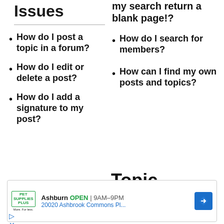Issues
my search return a blank page!?
How do I post a topic in a forum?
How do I search for members?
How do I edit or delete a post?
How can I find my own posts and topics?
How do I add a signature to my post?
Topic
[Figure (other): Advertisement banner for Pet Supplies Plus in Ashburn, showing store open hours 9AM-9PM and address 20020 Ashbrook Commons Pl...]